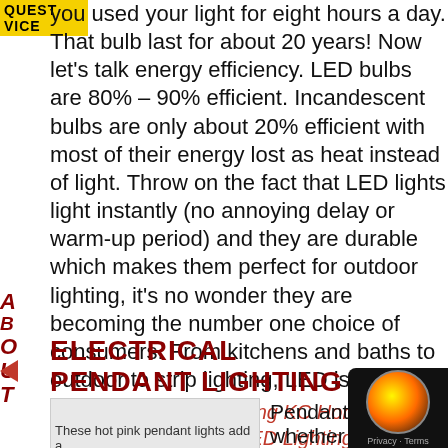QUEST
VICE
you used your light for eight hours a day. That bulb last for about 20 years! Now let’s talk energy efficiency. LED bulbs are 80% – 90% efficient. Incandescent bulbs are only about 20% efficient with most of their energy lost as heat instead of light. Throw on the fact that LED lights light instantly (no annoying delay or warm-up period) and they are durable which makes them perfect for outdoor lighting, it’s no wonder they are becoming the number one choice of consumers. From kitchens and baths to outdoor to strip lighting, LED is it!
Related Read: Everything KC Homeowners Need to Know About LED Lighting
ELECTRICAL
Pendant Lighting
[Figure (photo): Hot pink pendant lights image placeholder]
These hot pink pendant lights add a
Pendant ligh whether in